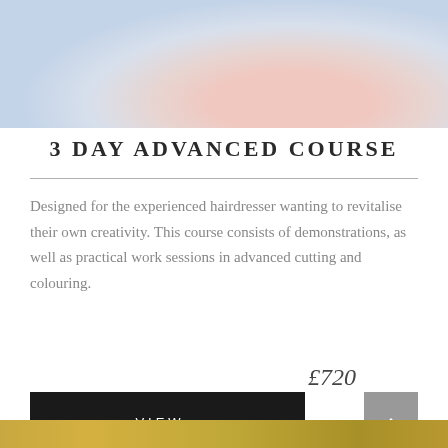[Figure (photo): Close-up photo of a person with light hair, soft pastel background with pale blue and pink tones]
3 DAY ADVANCED COURSE
Designed for the experienced hairdresser wanting to revitalise their own creativity. This course consists of demonstrations, as well as practical work sessions in advanced cutting and colouring.
£720
VIEW
[Figure (photo): Partial view of a person with golden/blonde hair, cropped at bottom of page]